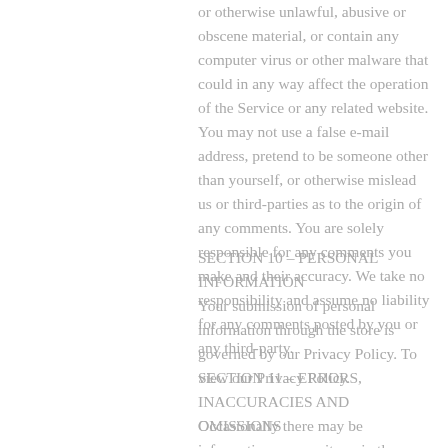or otherwise unlawful, abusive or obscene material, or contain any computer virus or other malware that could in any way affect the operation of the Service or any related website. You may not use a false e-mail address, pretend to be someone other than yourself, or otherwise mislead us or third-parties as to the origin of any comments. You are solely responsible for any comments you make and their accuracy. We take no responsibility and assume no liability for any comments posted by you or any third-party.
SECTION 10 – PERSONAL INFORMATION
Your submission of personal information through the store is governed by our Privacy Policy. To view our Privacy Policy.
SECTION 11 – ERRORS, INACCURACIES AND OMISSIONS
Occasionally there may be information on our site or in the Service that